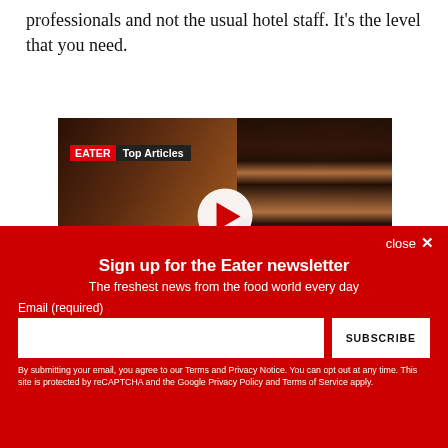professionals and not the usual hotel staff. It's the level that you need.
[Figure (screenshot): Video thumbnail showing a chocolate cake slice being cut, with EATER Top Articles badge overlay and a play button in the center.]
close ✕
Sign up for the Eater newsletter
The freshest news from the food world every day
Email (required)
SUBSCRIBE
By submitting your email, you agree to our Terms and Privacy Notice. You can opt out at any time. This site is protected by reCAPTCHA and the Google Privacy Policy and Terms of Service apply.